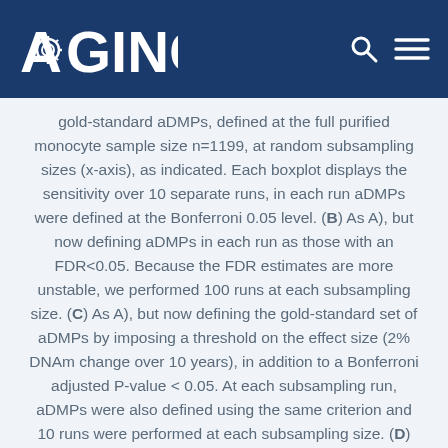AGING
gold-standard aDMPs, defined at the full purified monocyte sample size n=1199, at random subsampling sizes (x-axis), as indicated. Each boxplot displays the sensitivity over 10 separate runs, in each run aDMPs were defined at the Bonferroni 0.05 level. (B) As A), but now defining aDMPs in each run as those with an FDR<0.05. Because the FDR estimates are more unstable, we performed 100 runs at each subsampling size. (C) As A), but now defining the gold-standard set of aDMPs by imposing a threshold on the effect size (2% DNAm change over 10 years), in addition to a Bonferroni adjusted P-value < 0.05. At each subsampling run, aDMPs were also defined using the same criterion and 10 runs were performed at each subsampling size. (D) As A), but now only using the threshold on the effect size to define gold-